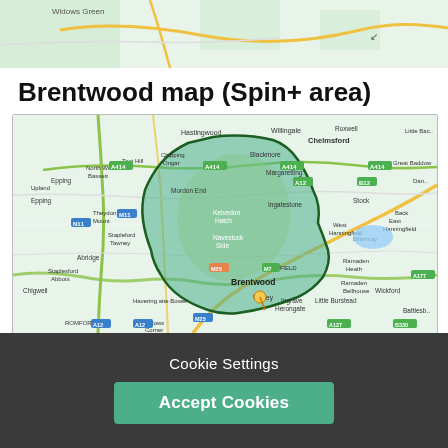[Figure (map): Top portion of a map showing green areas with roads, partially cropped at top of page]
Brentwood map (Spin+ area)
[Figure (map): Google Maps style map of Brentwood area showing the Spin+ service area highlighted in green, with surrounding towns including Chelmsford, Epping, Chigwell, Brentwood, Ingrave, Herongate, Wickford, and road networks including A414, A12, M25, M11]
Cookie Settings
Accept Cookies